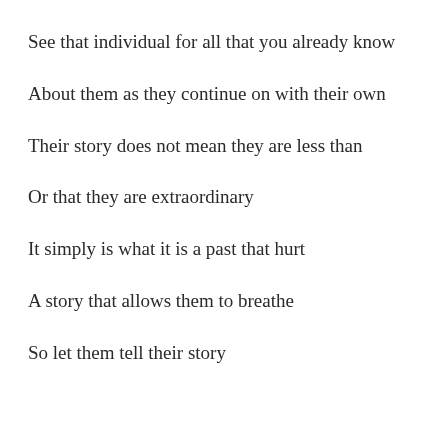See that individual for all that you already know
About them as they continue on with their own
Their story does not mean they are less than
Or that they are extraordinary
It simply is what it is a past that hurt
A story that allows them to breathe
So let them tell their story